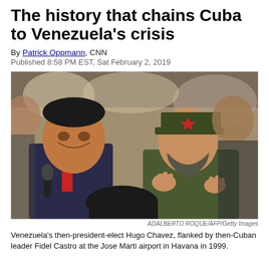The history that chains Cuba to Venezuela's crisis
By Patrick Oppmann, CNN
Published 8:58 PM EST, Sat February 2, 2019
[Figure (photo): Venezuela's then-president-elect Hugo Chavez, flanked by then-Cuban leader Fidel Castro at the Jose Marti airport in Havana in 1999. Photo by Adalberto Roque/AFP/Getty Images.]
ADALBERTO ROQUE/AFP/Getty Images
Venezuela's then-president-elect Hugo Chavez, flanked by then-Cuban leader Fidel Castro at the Jose Marti airport in Havana in 1999.